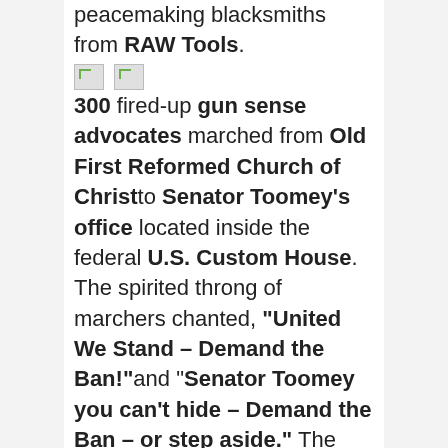peacemaking blacksmiths from RAW Tools. [images] 300 fired-up gun sense advocates marched from Old First Reformed Church of Christ to Senator Toomey's office located inside the federal U.S. Custom House. The spirited throng of marchers chanted, "United We Stand – Demand the Ban!" and "Senator Toomey you can't hide – Demand the Ban – or step aside." The marchers then participated in an energetic rally with more, chants, songs, and